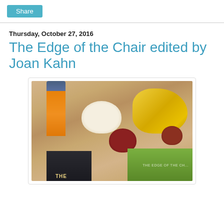Share
Thursday, October 27, 2016
The Edge of the Chair edited by Joan Kahn
[Figure (photo): Photo of decorative autumn gourds and pumpkins (white, dark red, yellow squash) on a table surface, with an orange cylinder/can in upper left and two books visible at the bottom — one dark/black book with 'THE' text and one green book on the right.]